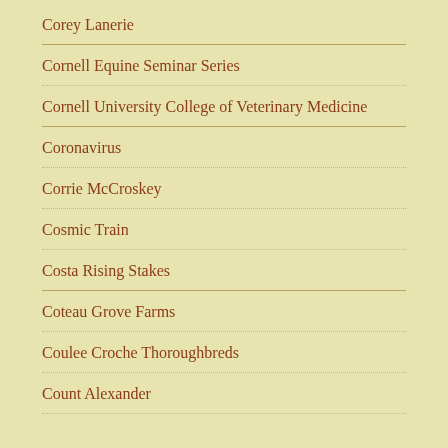Corey Lanerie
Cornell Equine Seminar Series
Cornell University College of Veterinary Medicine
Coronavirus
Corrie McCroskey
Cosmic Train
Costa Rising Stakes
Coteau Grove Farms
Coulee Croche Thoroughbreds
Count Alexander